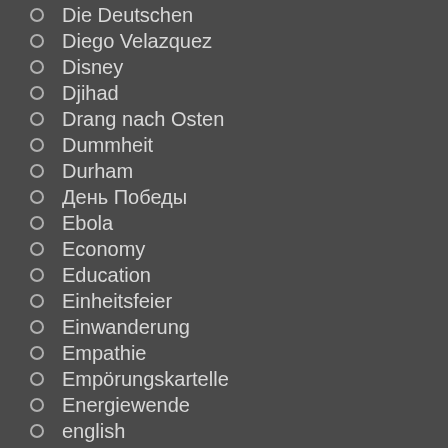Die Deutschen
Diego Velazquez
Disney
Djihad
Drang nach Osten
Dummheit
Durham
День Победы
Ebola
Economy
Education
Einheitsfeier
Einwanderung
Empathie
Empörungskartelle
Energiewende
english
Entmündigung
Erdogan